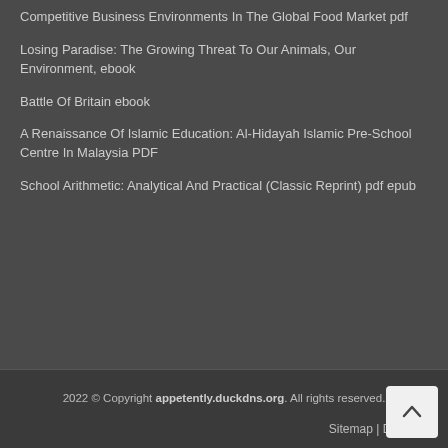Competitive Business Environments In The Global Food Market pdf
Losing Paradise: The Growing Threat To Our Animals, Our Environment, ebook
Battle Of Britain ebook
A Renaissance Of Islamic Education: Al-Hidayah Islamic Pre-School Centre In Malaysia PDF
School Arithmetic: Analytical And Practical (Classic Reprint) pdf epub
2022 © Copyright appetently.duckdns.org. All rights reserved. Sitemap | DMCA